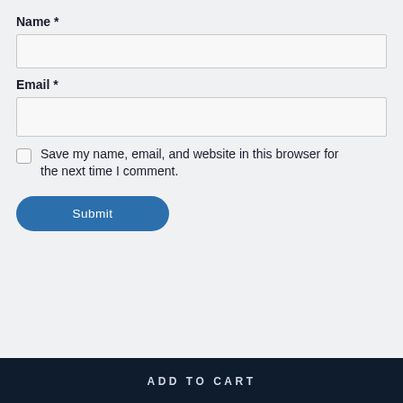Name *
[Figure (screenshot): Empty text input box for Name field]
Email *
[Figure (screenshot): Empty text input box for Email field]
Save my name, email, and website in this browser for the next time I comment.
[Figure (screenshot): Blue rounded Submit button]
ADD TO CART